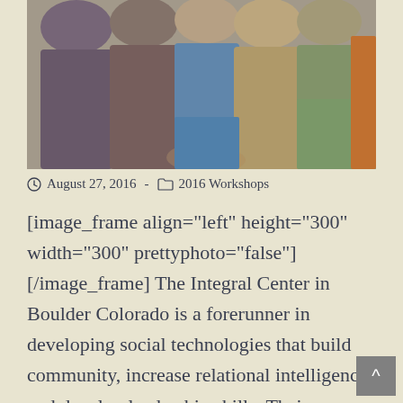[Figure (photo): A group of people standing close together, photographed from behind/side. Clothing visible in purple, blue, green, and orange tones. The image is blurry and cropped tightly.]
August 27, 2016  -  2016 Workshops
[image_frame align="left" height="300" width="300" prettyphoto="false"] [/image_frame] The Integral Center in Boulder Colorado is a forerunner in developing social technologies that build community, increase relational intelligence, and develop leadership skills. Their immersive courses such as